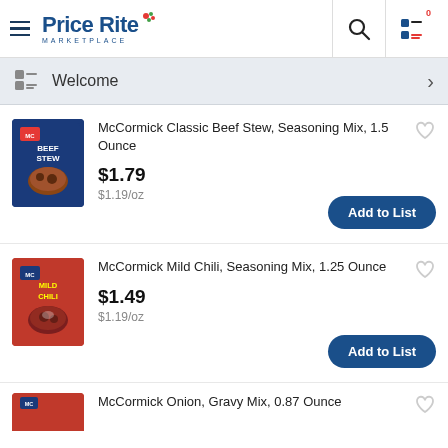Price Rite Marketplace
Welcome
McCormick Classic Beef Stew, Seasoning Mix, 1.5 Ounce
$1.79
$1.19/oz
McCormick Mild Chili, Seasoning Mix, 1.25 Ounce
$1.49
$1.19/oz
McCormick Onion, Gravy Mix, 0.87 Ounce